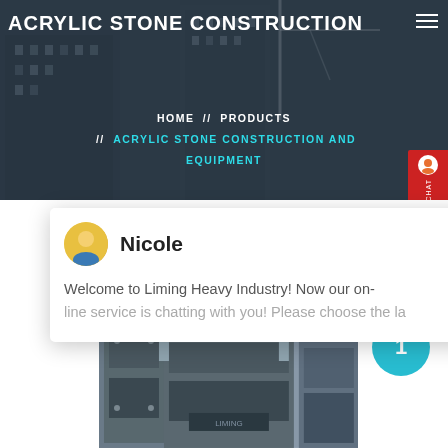ACRYLIC STONE CONSTRUCTION
HOME // PRODUCTS // ACRYLIC STONE CONSTRUCTION AND EQUIPMENT
Nicole
Welcome to Liming Heavy Industry! Now our on-line service is chatting with you! Please choose the la...
1
[Figure (photo): Industrial heavy equipment / stone crusher machinery in a facility, photographed from below looking up at large metal structure with gantry cranes in background]